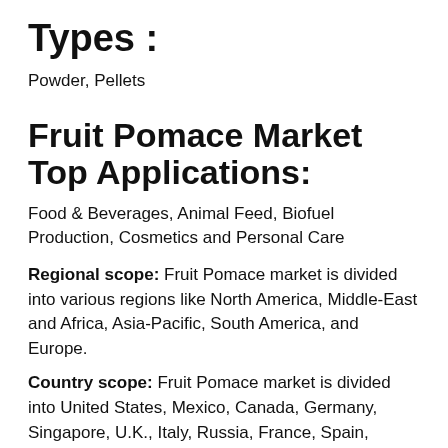Types :
Powder, Pellets
Fruit Pomace Market Top Applications:
Food & Beverages, Animal Feed, Biofuel Production, Cosmetics and Personal Care
Regional scope: Fruit Pomace market is divided into various regions like North America, Middle-East and Africa, Asia-Pacific, South America, and Europe.
Country scope: Fruit Pomace market is divided into United States, Mexico, Canada, Germany, Singapore, U.K., Italy, Russia, France, Spain, China, India, Japan, South